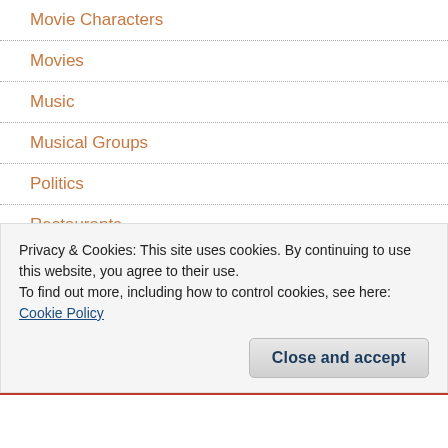Movie Characters
Movies
Music
Musical Groups
Politics
Restaurants
Soda
Spirits
Sports
Sports Teams
Privacy & Cookies: This site uses cookies. By continuing to use this website, you agree to their use.
To find out more, including how to control cookies, see here: Cookie Policy
Close and accept